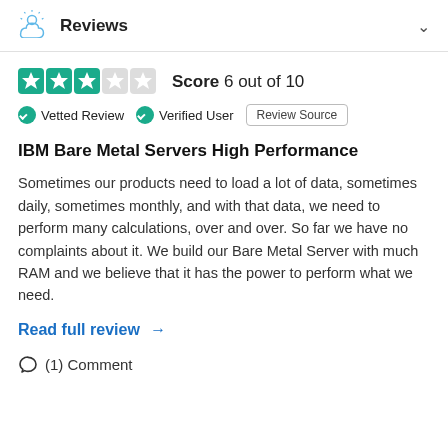Reviews
Score 6 out of 10
Vetted Review   Verified User   Review Source
IBM Bare Metal Servers High Performance
Sometimes our products need to load a lot of data, sometimes daily, sometimes monthly, and with that data, we need to perform many calculations, over and over. So far we have no complaints about it. We build our Bare Metal Server with much RAM and we believe that it has the power to perform what we need.
Read full review →
(1) Comment